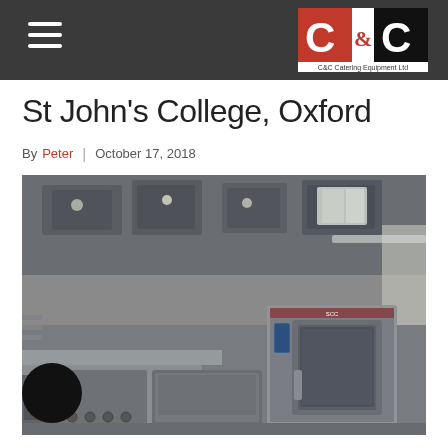C&C Catering Equipment Ltd
St John's College, Oxford
By Peter | October 17, 2018
[Figure (photo): Interior of a commercial kitchen showing stainless steel ceiling ventilation hoods with recessed lighting, professional catering equipment including a combi oven with glass door, flat-top griddle, range cooker with knobs, and prep surfaces along the walls.]